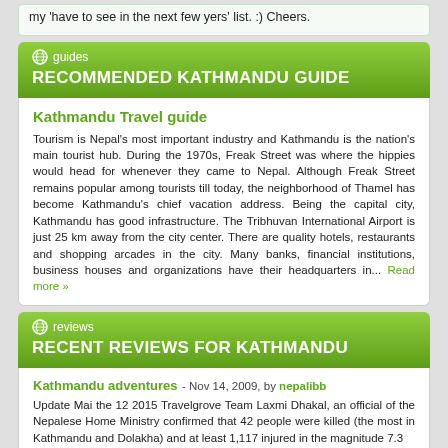my 'have to see in the next few yers' list. :) Cheers.
guides
RECOMMENDED KATHMANDU GUIDE
Kathmandu Travel guide
Tourism is Nepal's most important industry and Kathmandu is the nation's main tourist hub. During the 1970s, Freak Street was where the hippies would head for whenever they came to Nepal. Although Freak Street remains popular among tourists till today, the neighborhood of Thamel has become Kathmandu's chief vacation address. Being the capital city, Kathmandu has good infrastructure. The Tribhuvan International Airport is just 25 km away from the city center. There are quality hotels, restaurants and shopping arcades in the city. Many banks, financial institutions, business houses and organizations have their headquarters in... Read more »
reviews
RECENT REVIEWS FOR KATHMANDU
Kathmandu adventures
- Nov 14, 2009, by nepalibb
Update Mai the 12 2015 Travelgrove Team Laxmi Dhakal, an official of the Nepalese Home Ministry confirmed that 42 people were killed (the most in Kathmandu and Dolakha) and at least 1,117 injured in the magnitude 7.3